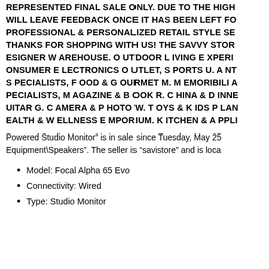REPRESENTED FINAL SALE ONLY. DUE TO THE HIGH WILL LEAVE FEEDBACK ONCE IT HAS BEEN LEFT FO PROFESSIONAL & PERSONALIZED RETAIL STYLE SE THANKS FOR SHOPPING WITH US! THE SAVVY STOR ESIGNER W AREHOUSE. O UTDOOR L IVING E XPERI ONSUMER E LECTRONICS O UTLET, S PORTS U. A NT S PECIALISTS, F OOD & G OURMET M. M EMORIBILIA PECIALISTS, M AGAZINE & B OOK R. C HINA & D INNE UITAR G. C AMERA & P HOTO W. T OYS & K IDS P LAN EALTH & W ELLNESS E MPORIUM. K ITCHEN & A PPLI
Powered Studio Monitor” is in sale since Tuesday, May 25 Equipment\Speakers”. The seller is “savistore” and is loca
Model: Focal Alpha 65 Evo
Connectivity: Wired
Type: Studio Monitor